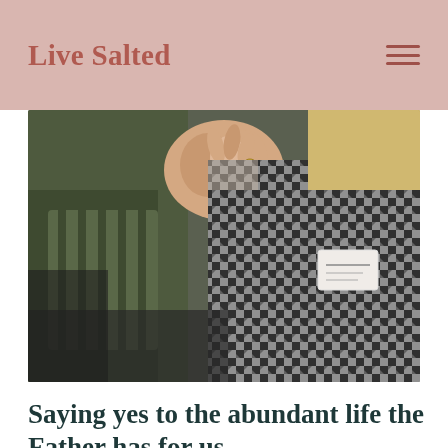Live Salted
[Figure (photo): Women holding hands in a prayer or worship circle; one woman wearing a black and white houndstooth/checkered jacket with a name tag, another in a green striped sleeve reaching out, blond hair visible in background.]
Saying yes to the abundant life the Father has for us.